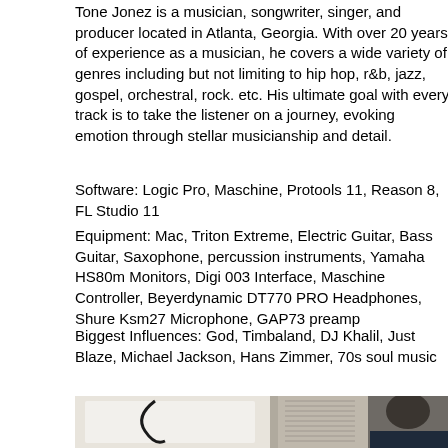Tone Jonez is a musician, songwriter, singer, and producer located in Atlanta, Georgia. With over 20 years of experience as a musician, he covers a wide variety of genres including but not limiting to hip hop, r&b, jazz, gospel, orchestral, rock. etc. His ultimate goal with every track is to take the listener on a journey, evoking emotion through stellar musicianship and detail.
Software: Logic Pro, Maschine, Protools 11, Reason 8, FL Studio 11
Equipment: Mac, Triton Extreme, Electric Guitar, Bass Guitar, Saxophone, percussion instruments, Yamaha HS80m Monitors, Digi 003 Interface, Maschine Controller, Beyerdynamic DT770 PRO Headphones, Shure Ksm27 Microphone, GAP73 preamp
Biggest Influences: God, Timbaland, DJ Khalil, Just Blaze, Michael Jackson, Hans Zimmer, 70s soul music
[Figure (photo): A photo showing what appears to be a room with white appliances or equipment on the left side and a person with dark hair visible on the right side of the image.]